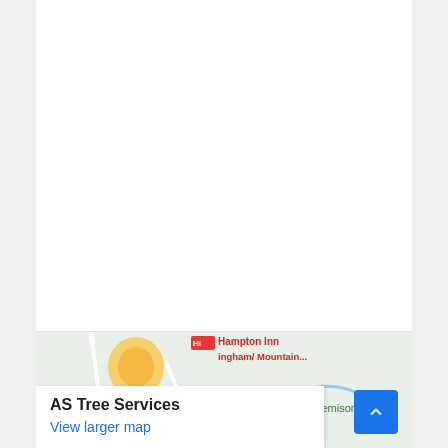[Figure (map): Partial Google Maps screenshot showing a map popup for 'AS Tree Services' with a 'View larger map' link. The map shows Hampton Inn Birmingham/Mountain Brook area and Jemison P(ark). A blue scroll-to-top button is visible in the bottom right corner.]